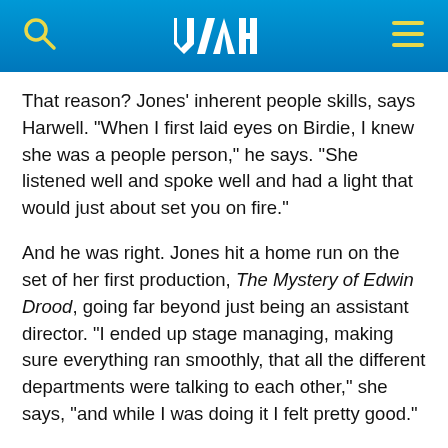UAH logo with search and menu icons
That reason? Jones' inherent people skills, says Harwell. "When I first laid eyes on Birdie, I knew she was a people person," he says. "She listened well and spoke well and had a light that would just about set you on fire."
And he was right. Jones hit a home run on the set of her first production, The Mystery of Edwin Drood, going far beyond just being an assistant director. "I ended up stage managing, making sure everything ran smoothly, that all the different departments were talking to each other," she says, "and while I was doing it I felt pretty good."
But after the run ended, she continues, she was overcome with a different and perhaps